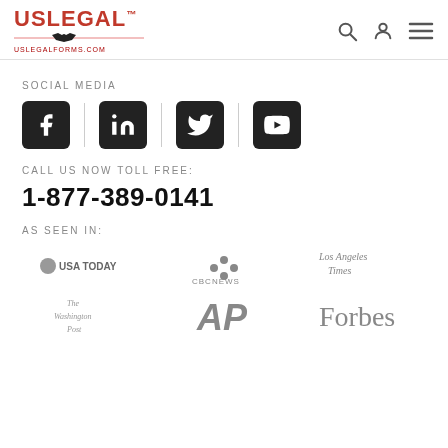USLegal uslegalforms.com
SOCIAL MEDIA
[Figure (other): Social media icons: Facebook, LinkedIn, Twitter, YouTube]
CALL US NOW TOLL FREE:
1-877-389-0141
AS SEEN IN:
[Figure (logo): Media logos: USA TODAY, CBC News, Los Angeles Times, The Washington Post, AP, Forbes]